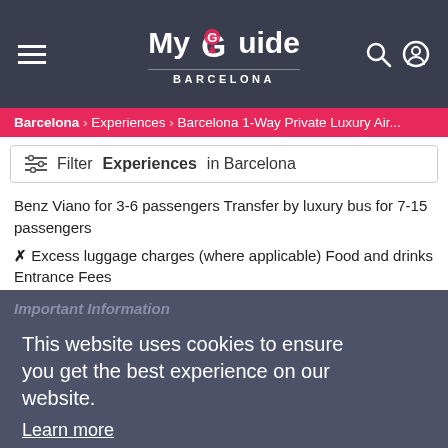My Guide BARCELONA — navigation bar with hamburger menu, logo, search and user icons
Barcelona > Experiences > Barcelona 1-Way Private Luxury Air...
Filter Experiences in Barcelona
Benz Viano for 3-6 passengers Transfer by luxury bus for 7-15 passengers
✗ Excess luggage charges (where applicable) Food and drinks Entrance Fees
Important Information
This website uses cookies to ensure you get the best experience on our website.
Learn more
Each passenger is allowed a maximum of 1 suitcase and 1 carry-
Reserve Your Experience
Barcelona 1-Way Private Luxury Airport or Port Transfer
Got it!
BOOK NOW